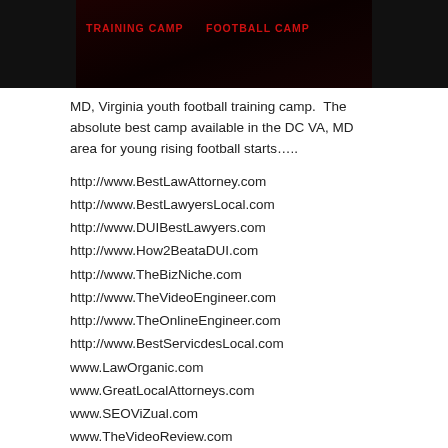[Figure (photo): Dark background image with red text labels at top, appears to be a football camp promotional image]
MD, Virginia youth football training camp.  The absolute best camp available in the DC VA, MD area for young rising football starts…..
http://www.BestLawAttorney.com
http://www.BestLawyersLocal.com
http://www.DUIBestLawyers.com
http://www.How2BeataDUI.com
http://www.TheBizNiche.com
http://www.TheVideoEngineer.com
http://www.TheOnlineEngineer.com
http://www.BestServicdesLocal.com
www.LawOrganic.com
www.GreatLocalAttorneys.com
www.SEOViZual.com
www.TheVideoReview.com
www.TheVideoLocal.com
www.MediaVizual.com
www.RankSpyder.com